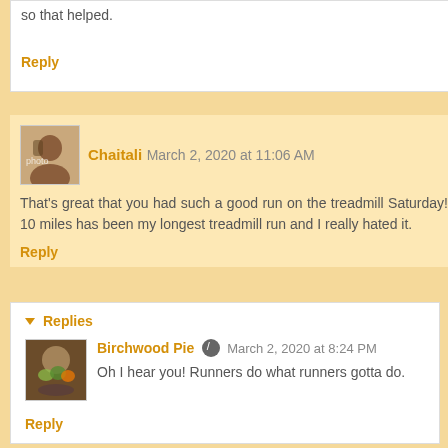so that helped.
Reply
Chaitali  March 2, 2020 at 11:06 AM
That's great that you had such a good run on the treadmill Saturday! 10 miles has been my longest treadmill run and I really hated it.
Reply
Replies
Birchwood Pie  March 2, 2020 at 8:24 PM
Oh I hear you! Runners do what runners gotta do.
Reply